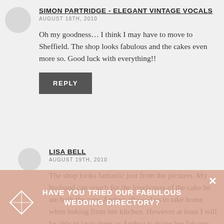SIMON PARTRIDGE - ELEGANT VINTAGE VOCALS
AUGUST 18TH, 2010
Oh my goodness… I think I may have to move to Sheffield. The shop looks fabulous and the cakes even more so. Good luck with everything!!
REPLY
LISA BELL
AUGUST 19TH, 2010
The shop looks fantastic just from the pictures. My husband can vouch for the lovelyness of the cake he ate both the ones Andrea allowed us to take home when baking from her kitchen. However at least I will be able to taste them as Andrea is doing her fab cup cakes for my mother and father in laws Ruby
HAVE YOU TRIED OUR FABULOUS WEDDING DIRECTORY?